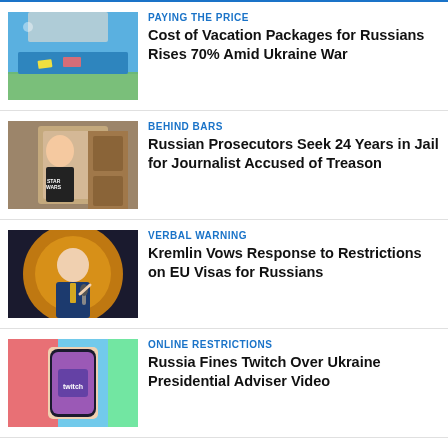[Figure (photo): Aerial view of a resort pool with blue water and lounge chairs]
PAYING THE PRICE
Cost of Vacation Packages for Russians Rises 70% Amid Ukraine War
[Figure (photo): Young man in a Star Wars t-shirt in what appears to be a courtroom]
BEHIND BARS
Russian Prosecutors Seek 24 Years in Jail for Journalist Accused of Treason
[Figure (photo): Man in a suit speaking at a microphone with orange circular background]
VERBAL WARNING
Kremlin Vows Response to Restrictions on EU Visas for Russians
[Figure (photo): Hand holding a phone showing Twitch app with purple background]
ONLINE RESTRICTIONS
Russia Fines Twitch Over Ukraine Presidential Adviser Video